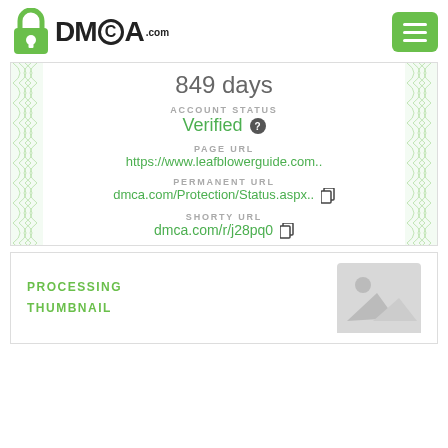[Figure (logo): DMCA.com logo with green padlock icon]
849 days
ACCOUNT STATUS
Verified ?
PAGE URL
https://www.leafblowerguide.com..
PERMANENT URL
dmca.com/Protection/Status.aspx..
SHORTY URL
dmca.com/r/j28pq0
PROCESSING THUMBNAIL